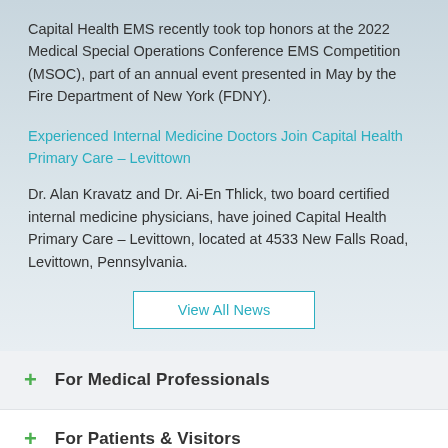Capital Health EMS recently took top honors at the 2022 Medical Special Operations Conference EMS Competition (MSOC), part of an annual event presented in May by the Fire Department of New York (FDNY).
Experienced Internal Medicine Doctors Join Capital Health Primary Care – Levittown
Dr. Alan Kravatz and Dr. Ai-En Thlick, two board certified internal medicine physicians, have joined Capital Health Primary Care – Levittown, located at 4533 New Falls Road, Levittown, Pennsylvania.
View All News
For Medical Professionals
For Patients & Visitors